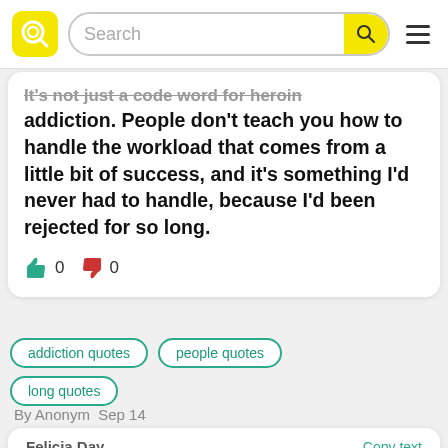Search
It's not just a code word for heroin addiction. People don't teach you how to handle the workload that comes from a little bit of success, and it's something I'd never had to handle, because I'd been rejected for so long.
addiction quotes
people quotes
long quotes
By Anonym  Sep 14
Felicia Day   Copy text